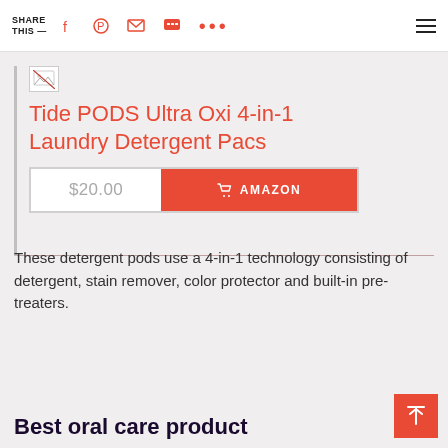SHARE THIS —
[Figure (screenshot): Broken image placeholder icon]
Tide PODS Ultra Oxi 4-in-1 Laundry Detergent Pacs
$20.00   🛒 AMAZON
These detergent pods use a 4-in-1 technology consisting of detergent, stain remover, color protector and built-in pre-treaters.
Best oral care product